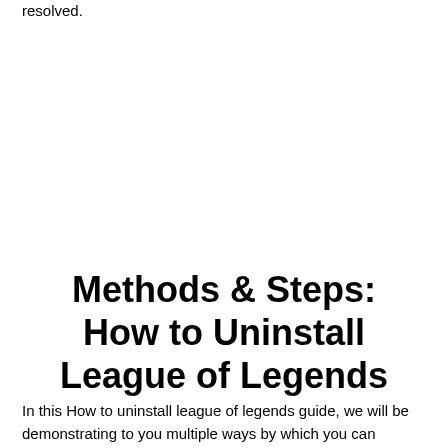resolved.
Methods & Steps: How to Uninstall League of Legends
In this How to uninstall league of legends guide, we will be demonstrating to you multiple ways by which you can